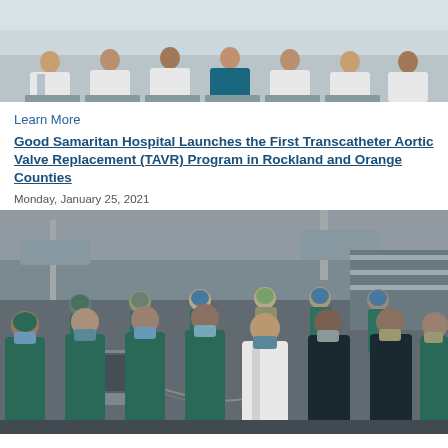[Figure (photo): Group photo of medical professionals in white coats seated and standing in a hospital setting]
Learn More
Good Samaritan Hospital Launches the First Transcatheter Aortic Valve Replacement (TAVR) Program in Rockland and Orange Counties
Monday, January 25, 2021
[Figure (photo): Group photo of medical team in surgical scrubs and masks in a cardiac catheterization lab, with medical equipment visible]